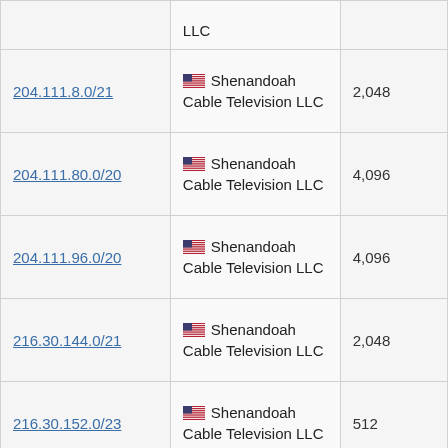| IP Block | Organization | Count |
| --- | --- | --- |
| LLC (partial top) | LLC |  |
| 204.111.8.0/21 | 🇺🇸 Shenandoah Cable Television LLC | 2,048 |
| 204.111.80.0/20 | 🇺🇸 Shenandoah Cable Television LLC | 4,096 |
| 204.111.96.0/20 | 🇺🇸 Shenandoah Cable Television LLC | 4,096 |
| 216.30.144.0/21 | 🇺🇸 Shenandoah Cable Television LLC | 2,048 |
| 216.30.152.0/23 | 🇺🇸 Shenandoah Cable Television LLC | 512 |
| 216.30.154.0/24 | 🇺🇸 Shenandoah Cable Television LLC | 256 |
| (partial bottom) | 🇺🇸 Shenandoah... |  |